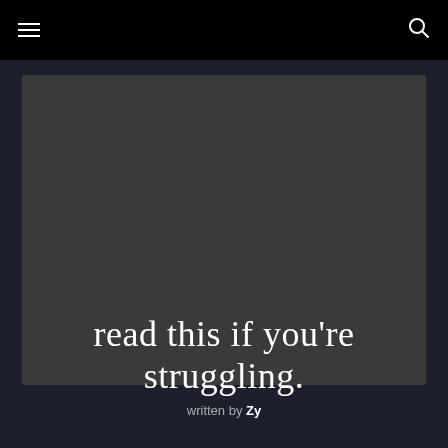≡  🔍
[Figure (photo): Dark grey rectangular image placeholder area]
read this if you're struggling.
written by Zy